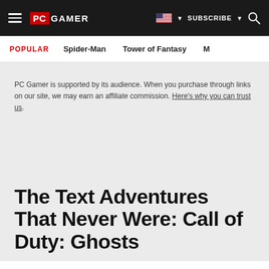PC GAMER | SUBSCRIBE | Search
POPULAR   Spider-Man   Tower of Fantasy   M
PC Gamer is supported by its audience. When you purchase through links on our site, we may earn an affiliate commission. Here's why you can trust us.
The Text Adventures That Never Were: Call of Duty: Ghosts